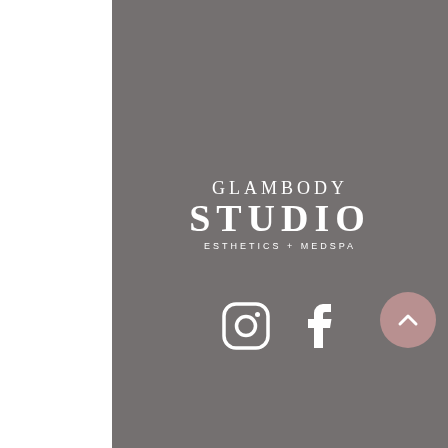[Figure (logo): Glambody Studio Esthetics + Medspa logo in white text on grey background]
[Figure (illustration): Social media icons: Instagram and Facebook in white on grey background]
[Figure (illustration): Scroll-to-top button: pink/mauve circle with upward chevron]